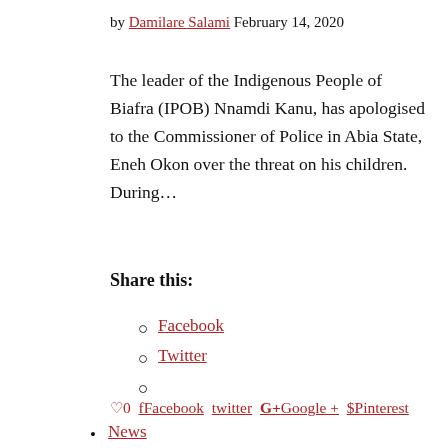by Damilare Salami February 14, 2020
The leader of the Indigenous People of Biafra (IPOB) Nnamdi Kanu, has apologised to the Commissioner of Police in Abia State, Eneh Okon over the threat on his children. During…
Share this:
Facebook
Twitter
♡0  Facebook  Twitter  G+ Google +  Pinterest
News
IPOB Warns Police Against...